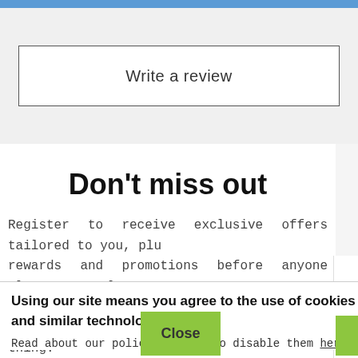[Figure (screenshot): Top navigation bar blue stripe]
Write a review
Don't miss out
Register to receive exclusive offers tailored to you, plus rewards and promotions before anyone else. Just select 'YES' during step 3 on the next page and never miss a thing.
Using our site means you agree to the use of cookies and similar technologies. Read about our policy and how to disable them here.
Close